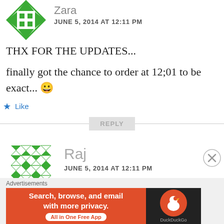[Figure (illustration): Green Gravatar-style avatar icon with hash/grid pattern for user 'Zara']
Zara
JUNE 5, 2014 AT 12:11 PM
THX FOR THE UPDATES...
finally got the chance to order at 12;01 to be exact... 😀
★ Like
REPLY
[Figure (illustration): Green geometric quilt-pattern Gravatar avatar for user 'Raj']
Raj
JUNE 5, 2014 AT 12:11 PM
Advertisements
[Figure (other): DuckDuckGo advertisement banner: orange background with 'Search, browse, and email with more privacy. All in One Free App' text and DuckDuckGo logo]